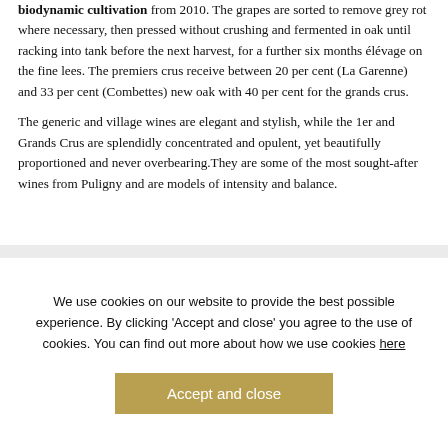biodynamic cultivation from 2010. The grapes are sorted to remove grey rot where necessary, then pressed without crushing and fermented in oak until racking into tank before the next harvest, for a further six months élévage on the fine lees. The premiers crus receive between 20 per cent (La Garenne) and 33 per cent (Combettes) new oak with 40 per cent for the grands crus.
The generic and village wines are elegant and stylish, while the 1er and Grands Crus are splendidly concentrated and opulent, yet beautifully proportioned and never overbearing.They are some of the most sought-after wines from Puligny and are models of intensity and balance.
We use cookies on our website to provide the best possible experience. By clicking 'Accept and close' you agree to the use of cookies. You can find out more about how we use cookies here
Accept and close